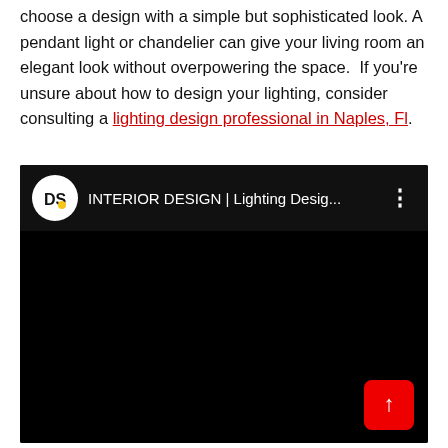choose a design with a simple but sophisticated look. A pendant light or chandelier can give your living room an elegant look without overpowering the space.  If you're unsure about how to design your lighting, consider consulting a lighting design professional in Naples, Fl.
[Figure (screenshot): Embedded YouTube-style video player showing a dark/black thumbnail. Video header shows the DS channel logo (white circle with 'DS' text and yellow dot), video title 'INTERIOR DESIGN | Lighting Desig...', three-dot menu icon. Bottom right has a red scroll-to-top button with an upward arrow.]